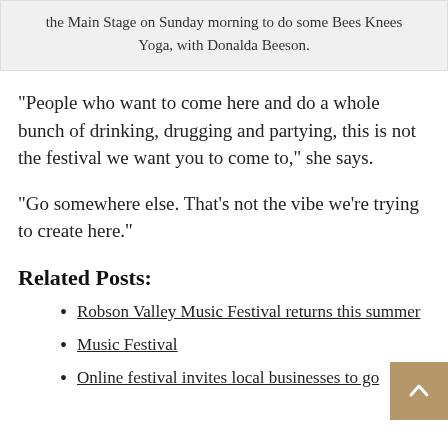the Main Stage on Sunday morning to do some Bees Knees Yoga, with Donalda Beeson.
“People who want to come here and do a whole bunch of drinking, drugging and partying, this is not the festival we want you to come to,” she says.
“Go somewhere else. That’s not the vibe we’re trying to create here.”
Related Posts:
Robson Valley Music Festival returns this summer
Music Festival
Online festival invites local businesses to go